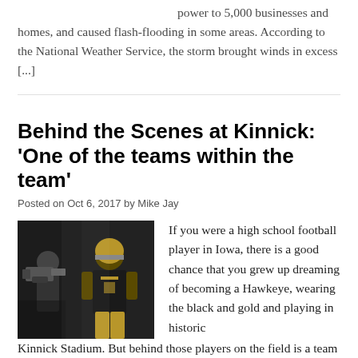power to 5,000 businesses and homes, and caused flash-flooding in some areas. According to the National Weather Service, the storm brought winds in excess [...]
Behind the Scenes at Kinnick: 'One of the teams within the team'
Posted on Oct 6, 2017 by Mike Jay
[Figure (photo): Two people, one holding a camera/video equipment, photographing or filming a football player in black and gold uniform at Kinnick Stadium]
If you were a high school football player in Iowa, there is a good chance that you grew up dreaming of becoming a Hawkeye, wearing the black and gold and playing in historic Kinnick Stadium. But behind those players on the field is a team working to make sure everything from the game day video board to the Twitter account and the plays on the field run as smoothly as possible. [...]